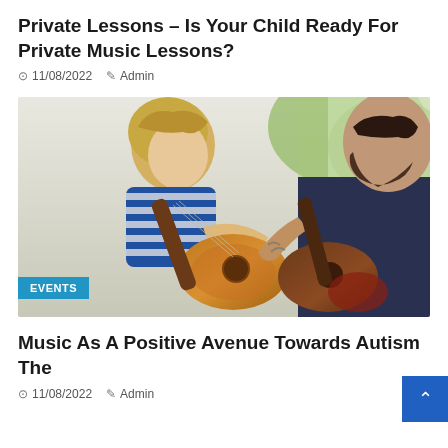Private Lessons – Is Your Child Ready For Private Music Lessons?
11/08/2022  Admin
[Figure (photo): A young child with blonde hair wearing a blue and white striped shirt playing an acoustic guitar, sitting next to a bearded adult man who is also playing guitar, appearing to be in a music lesson setting.]
EVENTS
Music As A Positive Avenue Towards Autism The
11/08/2022  Admin